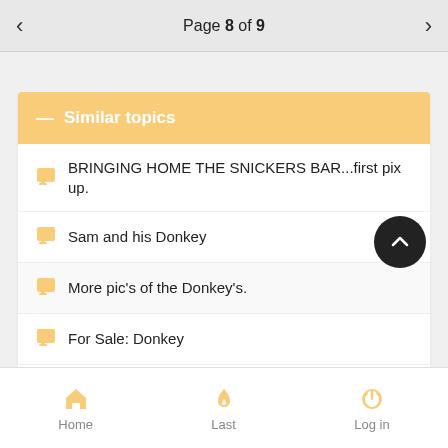Page 8 of 9
Similar topics
BRINGING HOME THE SNICKERS BAR...first pix up.
Sam and his Donkey
More pic's of the Donkey's.
For Sale: Donkey
May Photo Contest - VOTING NOW
Home  Last  Log in